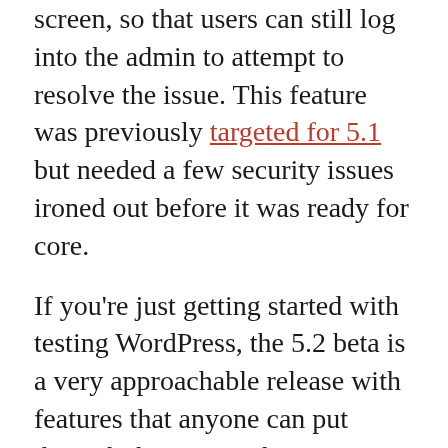screen, so that users can still log into the admin to attempt to resolve the issue. This feature was previously targeted for 5.1 but needed a few security issues ironed out before it was ready for core.
If you're just getting started with testing WordPress, the 5.2 beta is a very approachable release with features that anyone can put through the paces. The easiest way is to install the WordPress Beta Testing plugin and select "bleeding edge nightlies." Try out the new blocks, experiment with turning blocks and and off. Do the new features seem like they work as advertised? Are there any bumps in the road when trying to use them? You can report any issues to the Alpha/Beta area in the